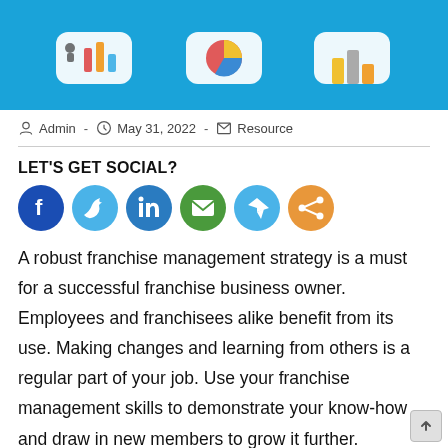[Figure (illustration): Blue banner with isometric illustrations of business analytics dashboards and charts on a light blue background]
Admin - May 31, 2022 - Resource
LET'S GET SOCIAL?
[Figure (infographic): Row of social media icon buttons: Facebook (dark blue), Twitter (light blue), LinkedIn (blue), Email (green), Telegram (blue), Share (orange)]
A robust franchise management strategy is a must for a successful franchise business owner. Employees and franchisees alike benefit from its use. Making changes and learning from others is a regular part of your job. Use your franchise management skills to demonstrate your know-how and draw in new members to grow it further.